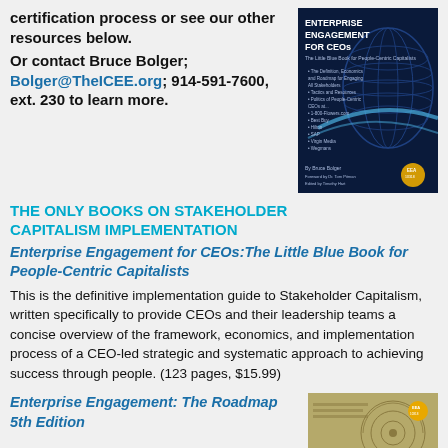certification process or see our other resources below.
Or contact Bruce Bolger; Bolger@TheICEE.org; 914-591-7600, ext. 230 to learn more.
[Figure (photo): Book cover of 'Enterprise Engagement for CEOs: The Little Blue Book for People-Centric Capitalists' by Bruce Bolger, navy blue cover with globe graphic, EEA logo]
THE ONLY BOOKS ON STAKEHOLDER CAPITALISM IMPLEMENTATION
Enterprise Engagement for CEOs: The Little Blue Book for People-Centric Capitalists
This is the definitive implementation guide to Stakeholder Capitalism, written specifically to provide CEOs and their leadership teams a concise overview of the framework, economics, and implementation process of a CEO-led strategic and systematic approach to achieving success through people. (123 pages, $15.99)
Enterprise Engagement: The Roadmap 5th Edition
[Figure (photo): Book cover of 'Enterprise Engagement: The Roadmap 5th Edition', tan/olive colored cover with circular graphic pattern]